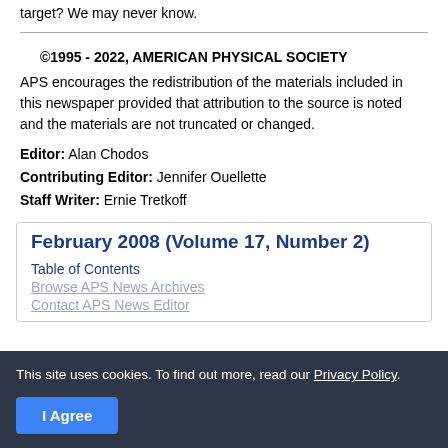target? We may never know.
©1995 - 2022, AMERICAN PHYSICAL SOCIETY
APS encourages the redistribution of the materials included in this newspaper provided that attribution to the source is noted and the materials are not truncated or changed.
Editor: Alan Chodos
Contributing Editor: Jennifer Ouellette
Staff Writer: Ernie Tretkoff
February 2008 (Volume 17, Number 2)
Table of Contents
Browse APS News Archives
Contact APS News Editor
This site uses cookies. To find out more, read our Privacy Policy.